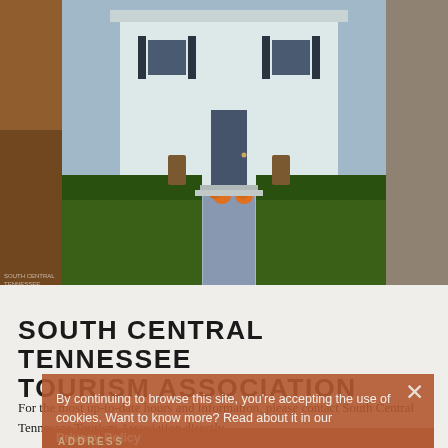[Figure (photo): White colonial-style building (South Central Tennessee Tourism Association) with green bushes, concrete walkway, pumpkins, and barrels, flanked by decorative side photos]
SOUTH CENTRAL TENNESSEE TOURISM ASSOCIATION
For the most up-to-date hours and information, please contact South Central Tennessee Tourism Association directly.
By continuing to browse this site, you're accepting the use of cookies. Want to know more? Read about it in our Privacy Policy
ADDRESS
241 Main Street
Lynchburg, TN 37352